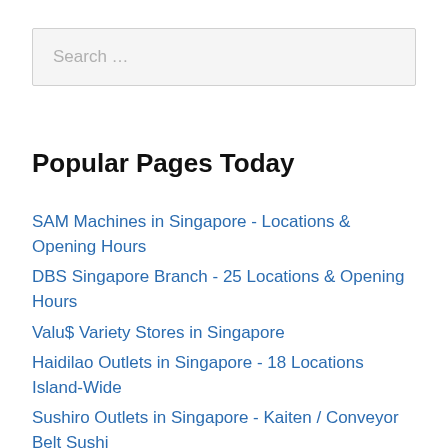Search …
Popular Pages Today
SAM Machines in Singapore - Locations & Opening Hours
DBS Singapore Branch - 25 Locations & Opening Hours
Valu$ Variety Stores in Singapore
Haidilao Outlets in Singapore - 18 Locations Island-Wide
Sushiro Outlets in Singapore - Kaiten / Conveyor Belt Sushi